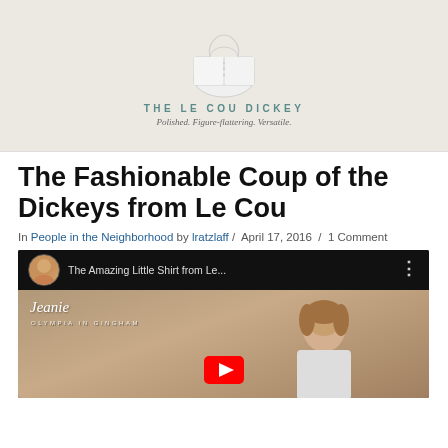[Figure (photo): Product image of Le Cou Dickey (white collar/dickey on light gray background) with text 'THE LE COU DICKEY' and subtitle 'Polished. Figure-flattering. Versatile.']
The Fashionable Coup of the Dickeys from Le Cou
In People in the Neighborhood by lratzlaff / April 17, 2016 / 1 Comment
[Figure (screenshot): YouTube video thumbnail showing 'The Amazing Little Shirt from Le...' with a woman named Jeanie (Olympia in Gingham) and another person in the video frame]